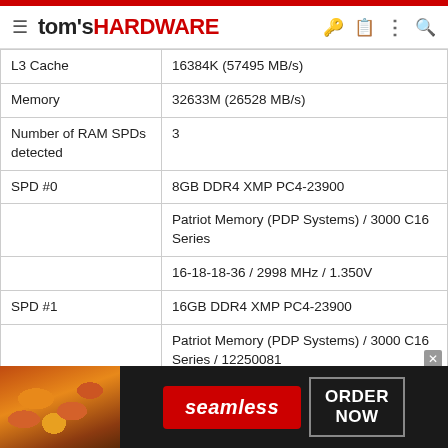tom's HARDWARE
| L3 Cache | 16384K (57495 MB/s) |
| Memory | 32633M (26528 MB/s) |
| Number of RAM SPDs detected | 3 |
| SPD #0 | 8GB DDR4 XMP PC4-23900 |
|  | Patriot Memory (PDP Systems) / 3000 C16 Series |
|  | 16-18-18-36 / 2998 MHz / 1.350V |
| SPD #1 | 16GB DDR4 XMP PC4-23900 |
|  | Patriot Memory (PDP Systems) / 3000 C16 Series / 12250081 |
|  | 16-18-18-36 / 2998 MHz / 1.350V |
[Figure (other): Seamless food delivery advertisement banner with pizza image, seamless logo and ORDER NOW button]